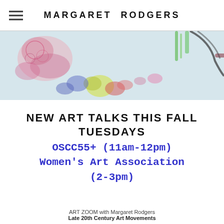MARGARET RODGERS
[Figure (photo): A colorful painting showing figures and abstract art elements in pinks, magentas, greens, and blues on a light background — appears to be a cropped banner of an artwork by Margaret Rodgers.]
NEW ART TALKS THIS FALL TUESDAYS OSCC55+ (11am-12pm) Women's Art Association (2-3pm)
ART ZOOM with Margaret Rodgers
Late 20th Century Art Movements